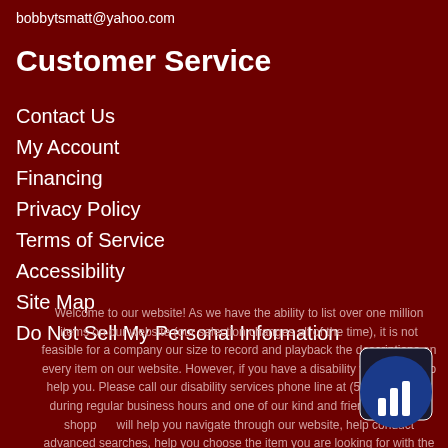bobbytsmatt@yahoo.com
Customer Service
Contact Us
My Account
Financing
Privacy Policy
Terms of Service
Accessibility
Site Map
Do Not Sell My Personal Information
Welcome to our website! As we have the ability to list over one million items on our website (our selection changes all of the time), it is not feasible for a company our size to record and playback the descriptions on every item on our website. However, if you have a disability we are here to help you. Please call our disability services phone line at (501) 268-3220 during regular business hours and one of our kind and friendly personal shoppers will help you navigate through our website, help conduct advanced searches, help you choose the item you are looking for with the specifications you are seeking, read you the specifications of any item and consult with you about the products themselves. There is no charge for the